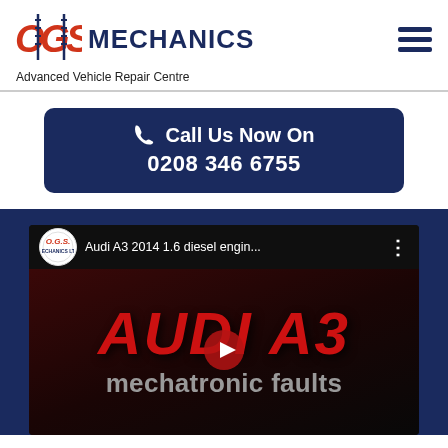[Figure (logo): OGS Mechanics logo with red and navy lettering]
MECHANICS
Advanced Vehicle Repair Centre
[Figure (illustration): Hamburger menu icon (three horizontal bars)]
Call Us Now On 0208 346 6755
[Figure (screenshot): YouTube video thumbnail: Audi A3 2014 1.6 diesel engin... with mechatronic faults title and OGS Mechanics logo]